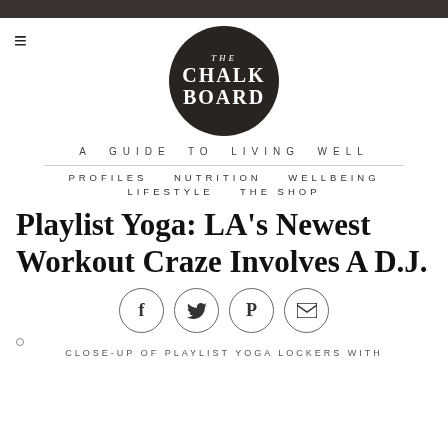[Figure (logo): The Chalk Board circular logo — dark brown/black circle with white text reading THE CHALK BOARD]
A GUIDE TO LIVING WELL
PROFILES   NUTRITION   WELLBEING
LIFESTYLE   THE SHOP
Playlist Yoga: LA's Newest Workout Craze Involves A D.J.
[Figure (infographic): Four social sharing icons in circles: Facebook (f), Twitter (bird), Pinterest (P), Email (envelope)]
CLOSE-UP OF PLAYLIST YOGA LOCKERS WITH